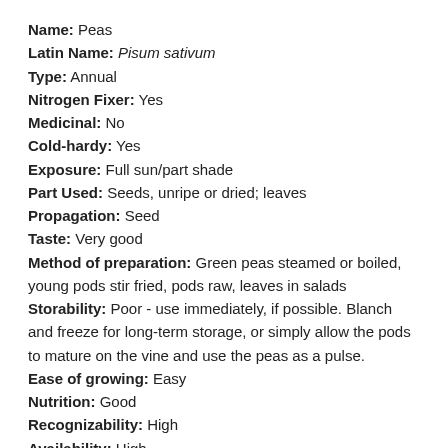Name: Peas
Latin Name: Pisum sativum
Type: Annual
Nitrogen Fixer: Yes
Medicinal: No
Cold-hardy: Yes
Exposure: Full sun/part shade
Part Used: Seeds, unripe or dried; leaves
Propagation: Seed
Taste: Very good
Method of preparation: Green peas steamed or boiled, young pods stir fried, pods raw, leaves in salads
Storability: Poor - use immediately, if possible. Blanch and freeze for long-term storage, or simply allow the pods to mature on the vine and use the peas as a pulse.
Ease of growing: Easy
Nutrition: Good
Recognizability: High
Availability: High